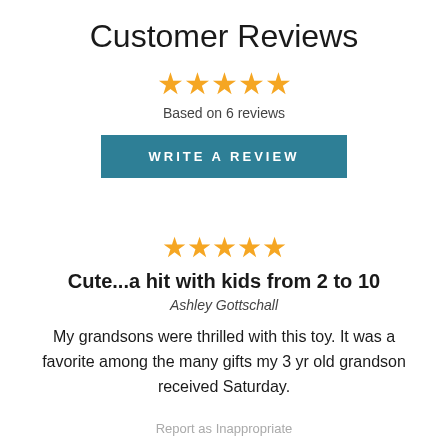Customer Reviews
[Figure (other): Five gold stars rating display]
Based on 6 reviews
WRITE A REVIEW
[Figure (other): Five gold stars rating display for individual review]
Cute...a hit with kids from 2 to 10
Ashley Gottschall
My grandsons were thrilled with this toy. It was a favorite among the many gifts my 3 yr old grandson received Saturday.
Report as Inappropriate